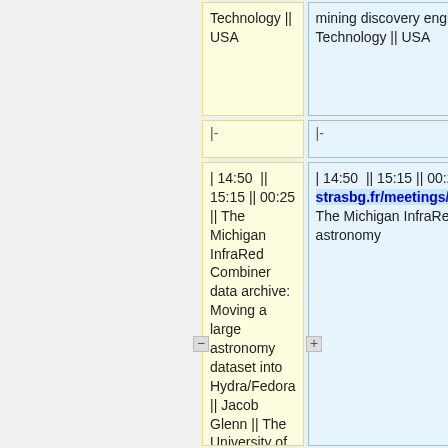Technology || USA
mining discovery engine] || Marion Schmitz || California Institute of Technology || USA
|-
|-
| 14:50 || 15:15 || 00:25 || The Michigan InfraRed Combiner data archive: Moving a large astronomy dataset into Hydra/Fedora || Jacob Glenn || The University of Michigan || USA
| 14:50 || 15:15 || 00:25 || [http://cds.u-strasbg.fr/meetings/Lisa8/presentations/wednesday/afternoon The Michigan InfraRed Combiner data archive: Moving a large astronomy